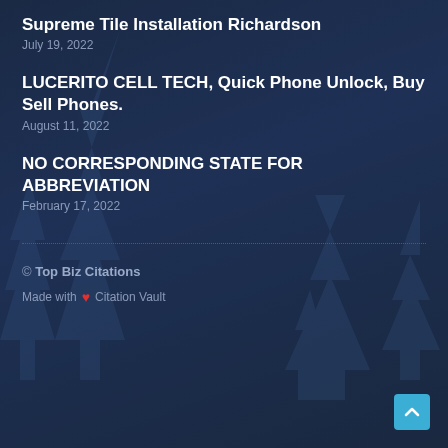Supreme Tile Installation Richardson
July 19, 2022
LUCERITO CELL TECH, Quick Phone Unlock, Buy Sell Phones.
August 11, 2022
NO CORRESPONDING STATE FOR ABBREVIATION
February 17, 2022
© Top Biz Citations
Made with ❤ Citation Vault